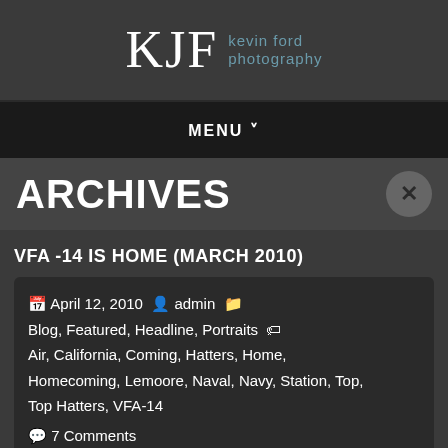KJF kevin ford photography
MENU ˅
ARCHIVES
VFA -14 IS HOME (MARCH 2010)
April 12, 2010  admin  Blog, Featured, Headline, Portraits  Air, California, Coming, Hatters, Home, Homecoming, Lemoore, Naval, Navy, Station, Top, Top Hatters, VFA-14  7 Comments